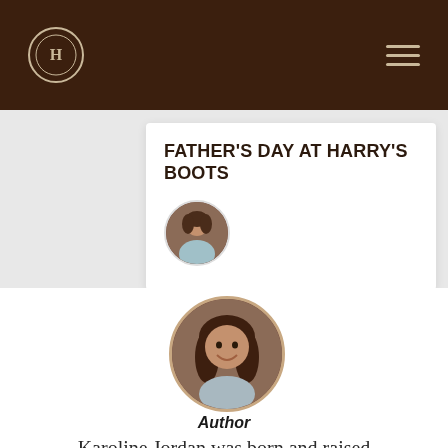Harry's Boots navigation header
FATHER'S DAY AT HARRY'S BOOTS
[Figure (photo): Small circular author avatar photo of a woman with dark brown hair]
[Figure (photo): Larger circular author photo of a woman with long dark hair, smiling]
Author
Karoline Jordan was born and raised